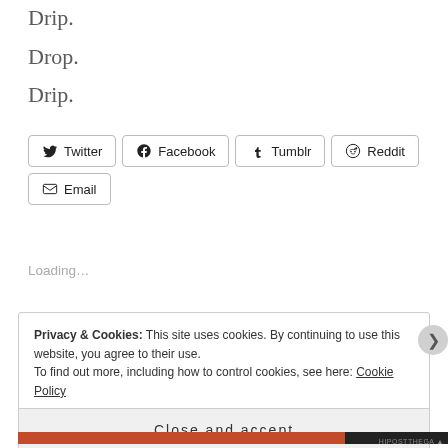Drip.
Drop.
Drip.
[Figure (other): Social share buttons: Twitter, Facebook, Tumblr, Reddit, Email]
Loading...
Privacy & Cookies: This site uses cookies. By continuing to use this website, you agree to their use.
To find out more, including how to control cookies, see here: Cookie Policy
Close and accept